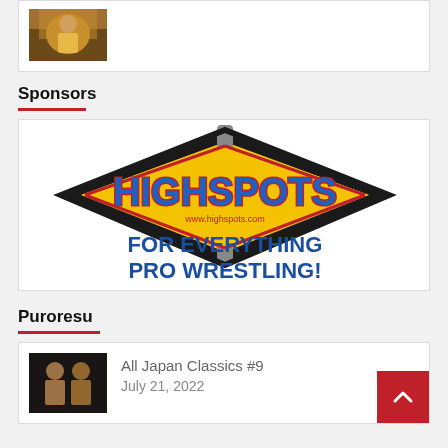[Figure (photo): Small thumbnail image of a person in a yellow shirt, appears to be a wrestling-related photo]
Sponsors
[Figure (logo): HighSpots.com logo with wrestling ring graphic and text 'FOR EVERYTHING PRO WRESTLING!' in blue bold letters on yellow/black background]
Puroresu
[Figure (photo): Small thumbnail of two wrestlers in a pro wrestling match]
All Japan Classics #9
July 21, 2022